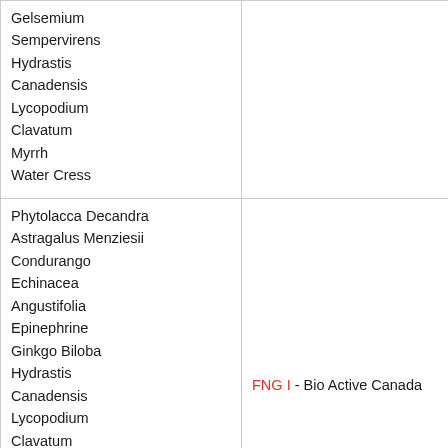| Gelsemium
Sempervirens
Hydrastis
Canadensis
Lycopodium
Clavatum
Myrrh
Water Cress |  |
| Phytolacca Decandra
Astragalus Menziesii
Condurango
Echinacea
Angustifolia
Epinephrine
Ginkgo Biloba
Hydrastis
Canadensis
Lycopodium
Clavatum
Phosphoric Acid
Phosphorus
Propolis
Sepia Officinalis L
Sodium Chloride | FNG I - Bio Active Canada |